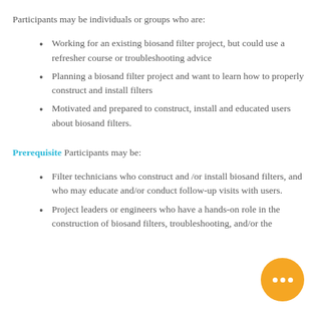Participants may be individuals or groups who are:
Working for an existing biosand filter project, but could use a refresher course or troubleshooting advice
Planning a biosand filter project and want to learn how to properly construct and install filters
Motivated and prepared to construct, install and educated users about biosand filters.
Prerequisite Participants may be:
Filter technicians who construct and /or install biosand filters, and who may educate and/or conduct follow-up visits with users.
Project leaders or engineers who have a hands-on role in the construction of biosand filters, troubleshooting, and/or the